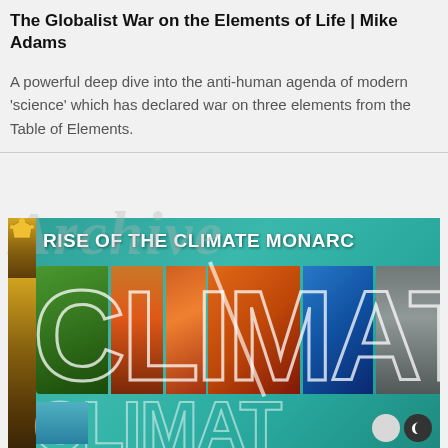The Globalist War on the Elements of Life | Mike Adams
A powerful deep dive into the anti-human agenda of modern 'science' which has declared war on three elements from the Table of Elements.
[Figure (illustration): Promotional thumbnail for 'Rise of the Climate Monarch' featuring large stylized text 'CLIMAT' filled with photographic collage images (tropical storm, drought, fire, flood, tornado) on a teal/turquoise background with a golden ornate frame element on the left side.]